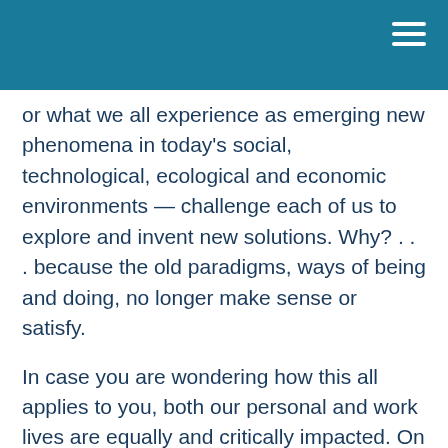or what we all experience as emerging new phenomena in today's social, technological, ecological and economic environments — challenge each of us to explore and invent new solutions.  Why?  . . . because the old paradigms, ways of being and doing, no longer make sense or satisfy.
In case you are wondering how this all applies to you, both our personal and work lives are equally and critically impacted.  On a personal